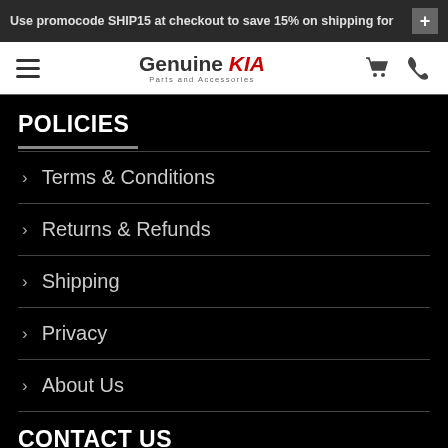Use promocode SHIP15 at checkout to save 15% on shipping for
[Figure (logo): Genuine KIA Parts and Accessories logo with hamburger menu, cart icon, and phone icon in site header]
POLICIES
Terms & Conditions
Returns & Refunds
Shipping
Privacy
About Us
CONTACT US